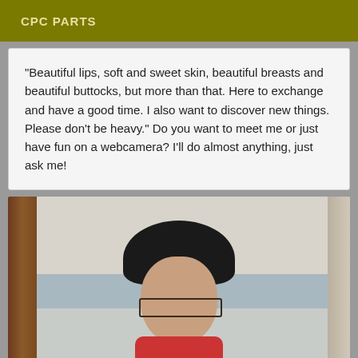CPC PARTS
"Beautiful lips, soft and sweet skin, beautiful breasts and beautiful buttocks, but more than that. Here to exchange and have a good time. I also want to discover new things. Please don't be heavy." Do you want to meet me or just have fun on a webcamera? I'll do almost anything, just ask me!
[Figure (photo): Mirror selfie photo of a woman with dark hair and glasses wearing a red top, taken in a bathroom setting with a wooden mirror frame visible on the left side.]